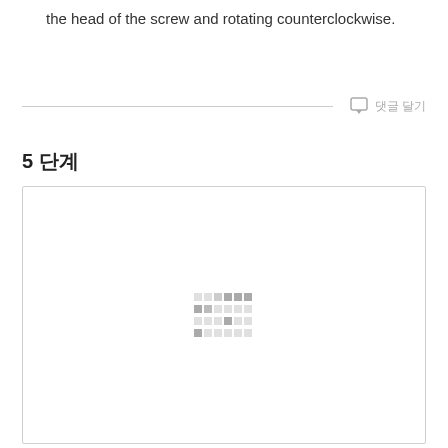the head of the screw and rotating counterclockwise.
5 단계
[Figure (photo): A bordered white box containing a loading/placeholder indicator (small grid of grey squares) in the center, representing an image of a step in a hardware assembly procedure.]